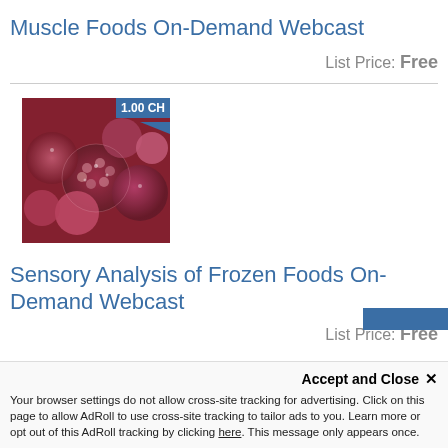Muscle Foods On-Demand Webcast
List Price: Free
[Figure (photo): Close-up photo of frozen berries (raspberries and strawberries) with a blue badge overlay showing '1.00 CH']
Sensory Analysis of Frozen Foods On-Demand Webcast
List Price: Free
Accept and Close ✕
Your browser settings do not allow cross-site tracking for advertising. Click on this page to allow AdRoll to use cross-site tracking to tailor ads to you. Learn more or opt out of this AdRoll tracking by clicking here. This message only appears once.